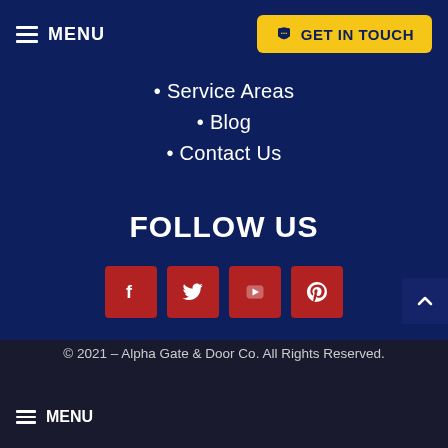MENU | GET IN TOUCH
• Service Areas
• Blog
• Contact Us
FOLLOW US
[Figure (infographic): Four red square social media icon buttons: Facebook (f), Twitter (bird), YouTube (play button), Pinterest (p)]
© 2021 – Alpha Gate & Door Co. All Rights Reserved.
MENU